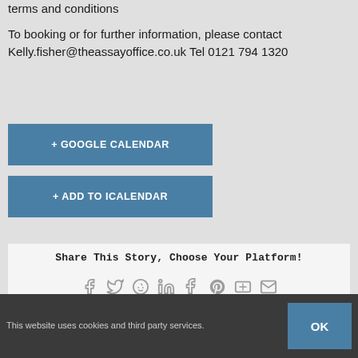terms and conditions
To booking or for further information, please contact Kelly.fisher@theassayoffice.co.uk Tel 0121 794 1320
+ GOOGLE CALENDAR
+ ADD TO ICALENDAR
Share This Story, Choose Your Platform!
This website uses cookies and third party services.
OK